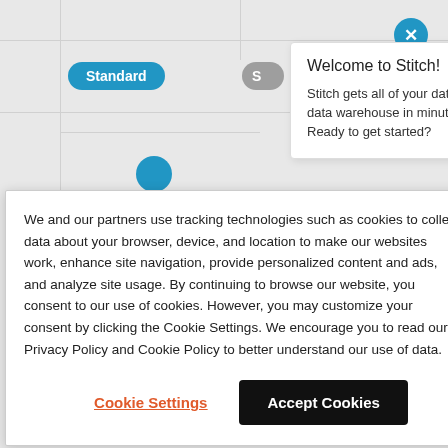[Figure (screenshot): Screenshot of a web interface showing a 'Standard' blue pill button and a partially visible gray pill button, with a tooltip popup titled 'Welcome to Stitch!' with a hamburger icon and body text 'Stitch gets all of your data into a data warehouse in minutes. Ready to get started?' and a close (X) button in the top right corner.]
We and our partners use tracking technologies such as cookies to collect data about your browser, device, and location to make our websites work, enhance site navigation, provide personalized content and ads, and analyze site usage. By continuing to browse our website, you consent to our use of cookies. However, you may customize your consent by clicking the Cookie Settings. We encourage you to read our Privacy Policy and Cookie Policy to better understand our use of data.
Cookie Settings
Accept Cookies